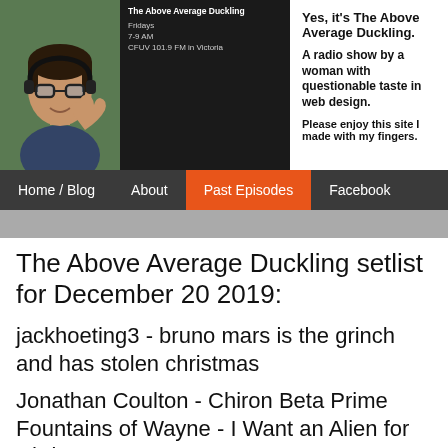[Figure (photo): Photo of a person with glasses and headphones giving a thumbs up, dark green/teal background]
[Figure (screenshot): Dark box with show title 'The Above Average Duckling', Fridays 7-9 AM, CFUV 101.9 FM in Victoria]
Yes, it's The Above Average Duckling. A radio show by a woman with questionable taste in web design. Please enjoy this site I made with my fingers.
Home / Blog   About   Past Episodes   Facebook
The Above Average Duckling setlist for December 20 2019:
jackhoeting3 - bruno mars is the grinch and has stolen christmas
Jonathan Coulton - Chiron Beta Prime
Fountains of Wayne - I Want an Alien for Christmas
The Vestibules - Christmas on Acid
Piebald - Rebellion of Winter